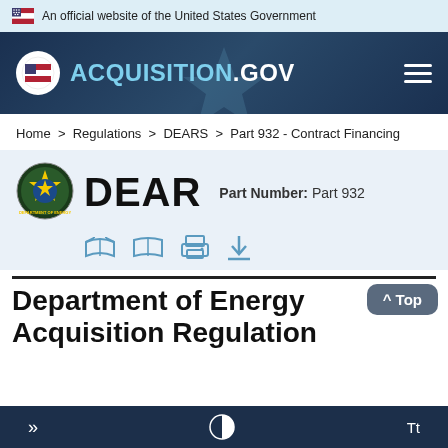An official website of the United States Government
[Figure (logo): Acquisition.gov logo with shield icon in white circle on dark navy header background]
Home > Regulations > DEARS > Part 932 - Contract Financing
[Figure (logo): Department of Energy seal/badge circular logo green and blue]
DEAR
Part Number: Part 932
Department of Energy Acquisition Regulation